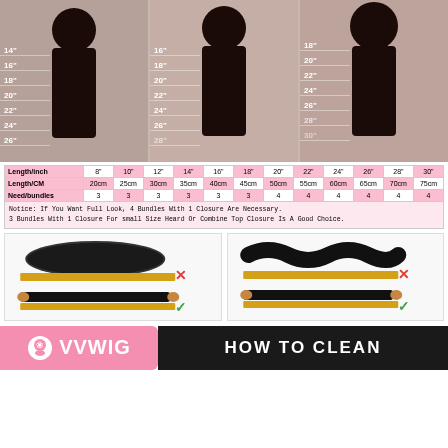[Figure (infographic): Three women shown from behind displaying different hair lengths with measurement markers from 14" to 30" for straight, wavy, and curly hair types]
| Length/inch | 8" | 10" | 12" | 14" | 16" | 18" | 20" | 22" | 24" | 26" | 28" | 30" |
| --- | --- | --- | --- | --- | --- | --- | --- | --- | --- | --- | --- | --- |
| Length/CM | 20cm | 25cm | 30cm | 35cm | 40cm | 45cm | 50cm | 55cm | 60cm | 65cm | 70cm | 75cm |
| Need/bundles | 3 | 3 | 3 | 3 | 3 | 3 | 4 | 4 | 4 | 4 | 4 | 4 |
Notice: If You Want Full Look, 4 Bundles With 1 Closure Are Necessary. 3 Bundles With 1 Closure For small Size Heard Or Combine Top Closure Is A Good Choice.
[Figure (infographic): Two panels showing correct (checkmark) and incorrect (X) ways to measure hair bundles - curly/kinky and wavy hair bundles shown stretched vs curled]
[Figure (logo): VVWIG brand logo with pink background and rose icon]
HOW TO CLEAN